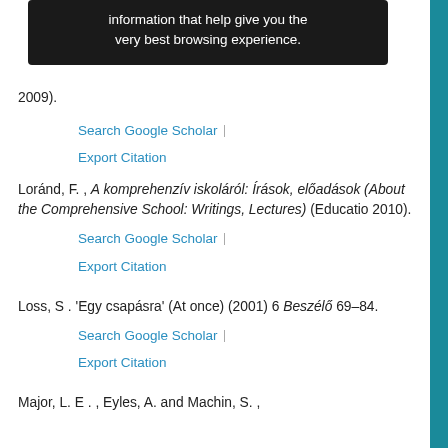[Figure (screenshot): Dark tooltip overlay with text: 'information that help give you the very best browsing experience.']
2009).
Search Google Scholar | Export Citation
Loránd, F. , A komprehenzív iskoláról: Írások, előadások (About the Comprehensive School: Writings, Lectures) (Educatio 2010).
Search Google Scholar | Export Citation
Loss, S . 'Egy csapásra' (At once) (2001) 6 Beszélő 69–84.
Search Google Scholar | Export Citation
Major, L. E . , Eyles, A. and Machin, S. ,